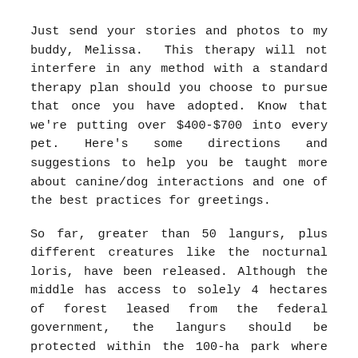Just send your stories and photos to my buddy, Melissa. This therapy will not interfere in any method with a standard therapy plan should you choose to pursue that once you have adopted. Know that we're putting over $400-$700 into every pet. Here's some directions and suggestions to help you be taught more about canine/dog interactions and one of the best practices for greetings.
So far, greater than 50 langurs, plus different creatures like the nocturnal loris, have been released. Although the middle has access to solely 4 hectares of forest leased from the federal government, the langurs should be protected within the 100-ha park where indigenous creatures are protected. Watching how a langur interacts with different langurs is crucial prior to launch, which can come months after the animal is brought to the camp. Syamsul took the little creature residence and lived...